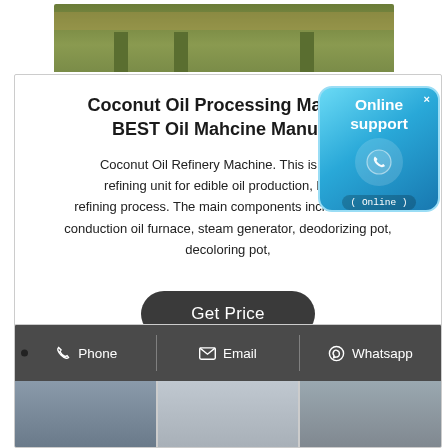[Figure (photo): Partial view of a green/olive colored piece of furniture or machinery on a wooden floor, top portion only visible]
Coconut Oil Processing Machine BEST Oil Mahcine Manufac
Coconut Oil Refinery Machine. This is a sma refining unit for edible oil production, based refining process. The main components includes heat conduction oil furnace, steam generator, deodorizing pot, decoloring pot,
[Figure (infographic): Online support widget with blue gradient background, phone icon, and text reading 'Online support' and '( Online )']
Get Price
[Figure (infographic): Contact bar with Phone, Email, and Whatsapp options on dark background, with small product images below]